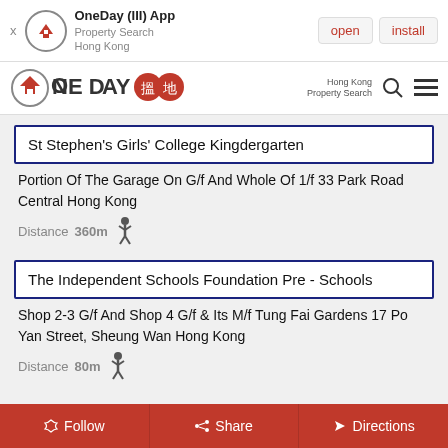[Figure (screenshot): App install banner for OneDay (III) App – Property Search Hong Kong, with open and install buttons]
[Figure (logo): OneDay 搵地 logo with Hong Kong Property Search text, search icon, and hamburger menu]
St Stephen's Girls' College Kingdergarten
Portion Of The Garage On G/f And Whole Of 1/f 33 Park Road Central Hong Kong
Distance 360m
The Independent Schools Foundation Pre - Schools
Shop 2-3 G/f And Shop 4 G/f & Its M/f Tung Fai Gardens 17 Po Yan Street, Sheung Wan Hong Kong
Distance 80m
Follow   Share   Directions